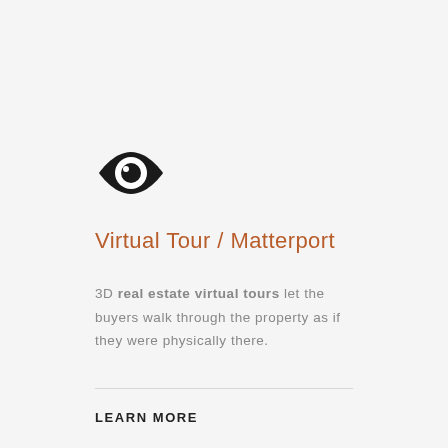[Figure (illustration): Black eye/visibility icon — an eye shape with a pupil in the center]
Virtual Tour / Matterport
3D real estate virtual tours let the buyers walk through the property as if they were physically there.
LEARN MORE